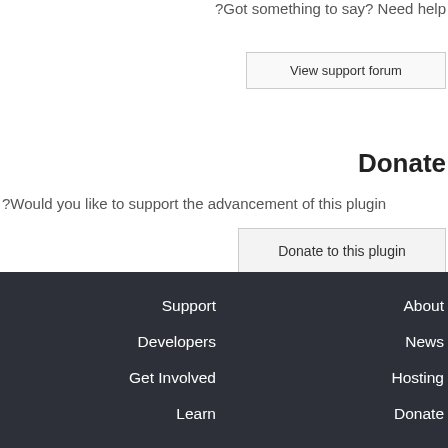?Got something to say? Need help
View support forum
Donate
?Would you like to support the advancement of this plugin
Donate to this plugin
Support
Developers
Get Involved
Learn
About
News
Hosting
Donate